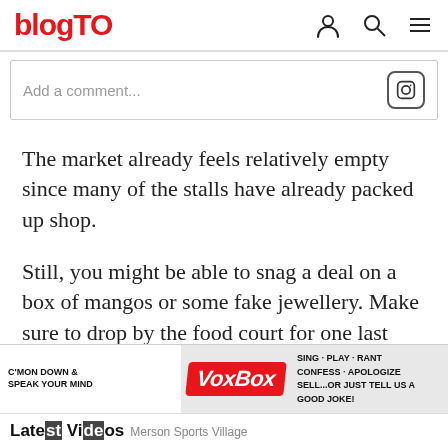blogTO
Add a comment...
The market already feels relatively empty since many of the stalls have already packed up shop.
Still, you might be able to snag a deal on a box of mangos or some fake jewellery. Make sure to drop by the food court for one last roti, a pupusa, and maybe some sugarcane juice.
Lead photo by Toronto Weston Flea Market
[Figure (infographic): VoxBox advertisement banner: C'MON DOWN & SPEAK YOUR MIND VoxBox SING·PLAY·RANT CONFESS·APOLOGIZE SELL...or just tell us a good joke!]
Latest Videos